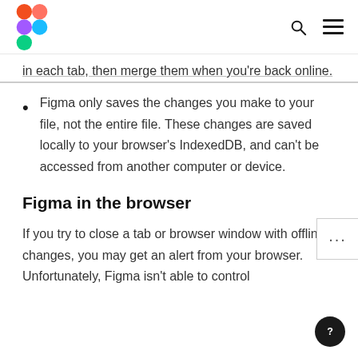Figma logo, search icon, menu icon
in each tab, then merge them when you're back online.
Figma only saves the changes you make to your file, not the entire file. These changes are saved locally to your browser's IndexedDB, and can't be accessed from another computer or device.
Figma in the browser
If you try to close a tab or browser window with offline changes, you may get an alert from your browser. Unfortunately, Figma isn't able to control